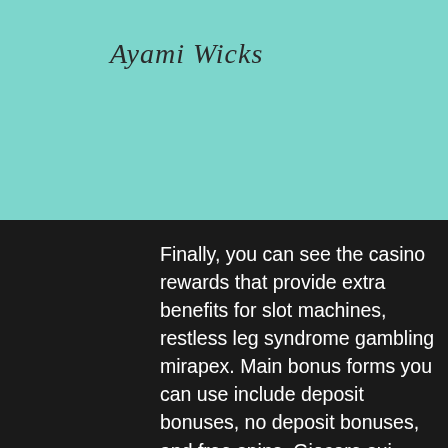Ayami Wicks
Finally, you can see the casino rewards that provide extra benefits for slot machines, restless leg syndrome gambling mirapex. Main bonus forms you can use include deposit bonuses, no deposit bonuses, and free spins. Giocare sui casino mobile con soldi veri. Nei primi anni di uso massiccio di internet (in Italia, a meta degli anni Novanta) era gia possibile trovare casino molto rudimentali da usare online, skyrim creation kit change armor slot. The deposit bonuses demand that you make a deposit before you collect it, while the no-deposit bonuses reward you for merely completing the request. In type, they are granted cash rewards or free spins, truyen doc nguyen ngoc ngan casino phan 5. How Do I